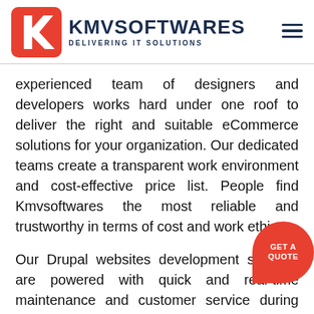[Figure (logo): KMVSoftwares logo with red diamond K icon and dark navy text reading KMVSOFTWARES DELIVERING IT SOLUTIONS, plus hamburger menu icon on the right]
experienced team of designers and developers works hard under one roof to deliver the right and suitable eCommerce solutions for your organization. Our dedicated teams create a transparent work environment and cost-effective price list. People find Kmvsoftwares the most reliable and trustworthy in terms of cost and work ethics.
Our Drupal websites development services are powered with quick and real-time maintenance and customer service during the project development. Our experienced developers perform multiple layered quality tests to detect issues, responsiveness, and eliminate them before launching to avoid unwanted downtime. Our ultimate goal is to deliver an
[Figure (other): GET A QUOTE red circular button in bottom-right corner]